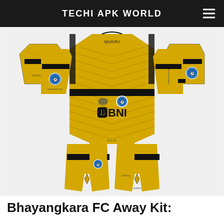TECHI APK WORLD
[Figure (illustration): Dream League Soccer kit template showing Bhayangkara FC away kit in yellow and black. The kit layout displays the full uniform spread: jersey (front and back), shorts, socks, and goalkeeper gloves arranged in a flat-lay dream league soccer format. The jersey is yellow with black chevron/zigzag pattern, black horizontal stripe across the waist, and features the BNI sponsor logo, Umbro brand logo, and Bhayangkara FC club crest. The layout is on a white background.]
Bhayangkara FC Away Kit: